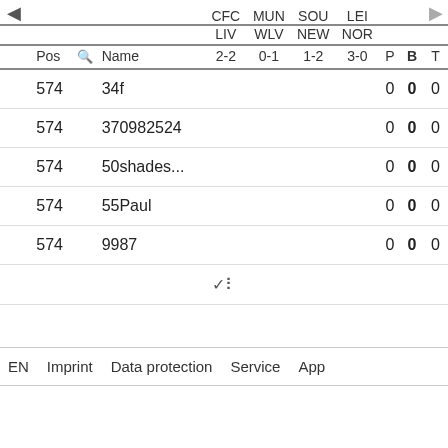|  | Pos |  | Name | CFC LIV 2-2 | MUN WLV 0-1 | SOU NEW 1-2 | LEI NOR 3-0 | P | B | T |
| --- | --- | --- | --- | --- | --- | --- | --- | --- | --- | --- |
| ◀ |  |  |  |  |  |  |  |  |  | ▶ |
| 574 | 34f |  |  |  |  | 0 | 0 | 0 |
| 574 | 370982524 |  |  |  |  | 0 | 0 | 0 |
| 574 | 50shades... |  |  |  |  | 0 | 0 | 0 |
| 574 | 55Paul |  |  |  |  | 0 | 0 | 0 |
| 574 | 9987 |  |  |  |  | 0 | 0 | 0 |
EN  Imprint  Data protection  Service  App